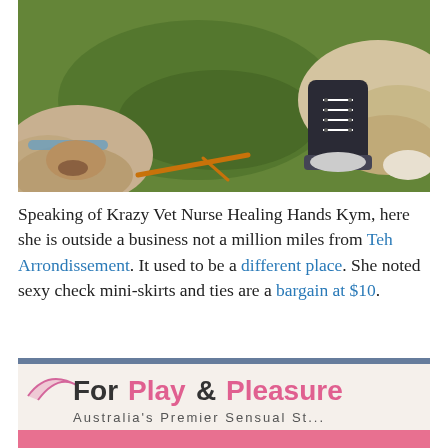[Figure (photo): Two dogs sniffing at grass on the ground, one wearing a small dark sneaker/shoe. Close-up view from above.]
Speaking of Krazy Vet Nurse Healing Hands Kym, here she is outside a business not a million miles from Teh Arrondissement. It used to be a different place. She noted sexy check mini-skirts and ties are a bargain at $10.
[Figure (photo): Sign reading 'For Play & Pleasure – Australia's Premier Sensual St...' with pink and black text on a white background with a pink stripe.]